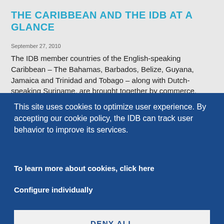THE CARIBBEAN AND THE IDB AT A GLANCE
September 27, 2010
The IDB member countries of the English-speaking Caribbean – The Bahamas, Barbados, Belize, Guyana, Jamaica and Trinidad and Tobago – along with Dutch-speaking Suriname, are brought together by commerce, geography, history and traditions. Their economic situation and development challenges, however, may
This site uses cookies to optimize user experience. By accepting our cookie policy, the IDB can track user behavior to improve its services.
To learn more about cookies, click here
Configure individually
DENY ALL
ACCEPT ALL